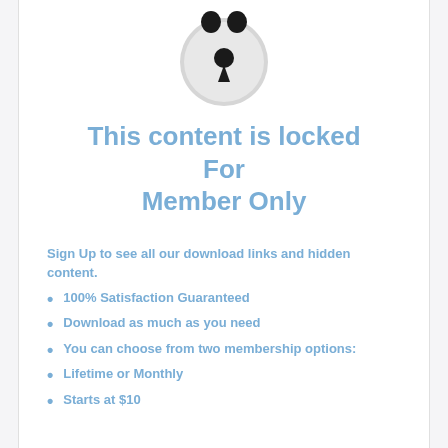[Figure (illustration): A padlock icon — round silver/grey body with a black keyhole, with two black bumps at the top suggesting the shackle.]
This content is locked
For
Member Only
Sign Up to see all our download links and hidden content.
100% Satisfaction Guaranteed
Download as much as you need
You can choose from two membership options:
Lifetime or Monthly
Starts at $10